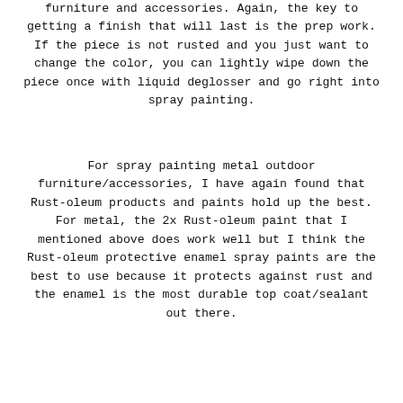furniture and accessories. Again, the key to getting a finish that will last is the prep work. If the piece is not rusted and you just want to change the color, you can lightly wipe down the piece once with liquid deglosser and go right into spray painting.
For spray painting metal outdoor furniture/accessories, I have again found that Rust-oleum products and paints hold up the best. For metal, the 2x Rust-oleum paint that I mentioned above does work well but I think the Rust-oleum protective enamel spray paints are the best to use because it protects against rust and the enamel is the most durable top coat/sealant out there.